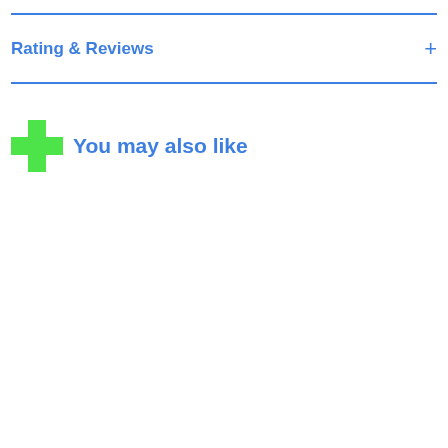Rating & Reviews
You may also like